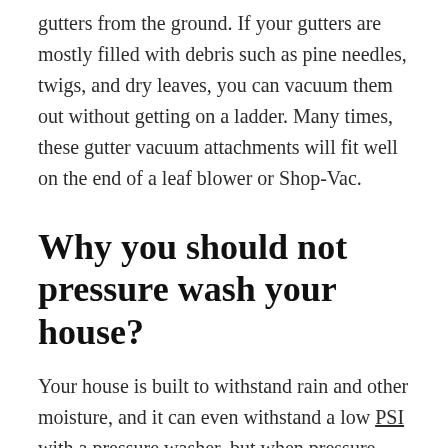gutters from the ground. If your gutters are mostly filled with debris such as pine needles, twigs, and dry leaves, you can vacuum them out without getting on a ladder. Many times, these gutter vacuum attachments will fit well on the end of a leaf blower or Shop-Vac.
Why you should not pressure wash your house?
Your house is built to withstand rain and other moisture, and it can even withstand a low PSI with a pressure washer, but when pressure washers are used at full capacity, you may end up with soggy carpet, wet attics, and mold.